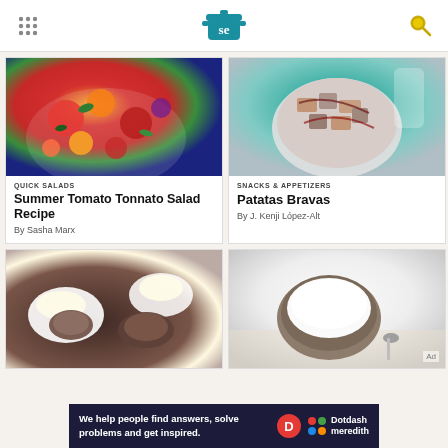Serious Eats header with logo and navigation
[Figure (photo): Colorful heirloom tomato salad with basil leaves on a white plate]
QUICK SALADS
Summer Tomato Tonnato Salad Recipe
By Sasha Marx
[Figure (photo): Patatas Bravas in a bowl with sauce drizzled on top, viewed from above on teal background]
SNACKS & APPETIZERS
Patatas Bravas
By J. Kenji López-Alt
[Figure (photo): Braised chicken with rice on plates on dark surface]
[Figure (photo): Yogurt in a ceramic bowl with spoon on linen cloth]
Ad
We help people find answers, solve problems and get inspired.
[Figure (logo): Dotdash Meredith logo with D circle and colorful dots]